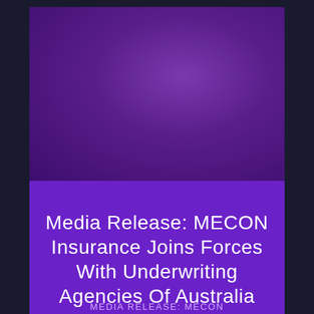[Figure (illustration): Dark purple gradient background image block in the upper portion of the page, with radial gradient from medium purple at center to deep dark purple at edges]
Media Release: MECON Insurance Joins Forces With Underwriting Agencies Of Australia
MEDIA RELEASE: MECON